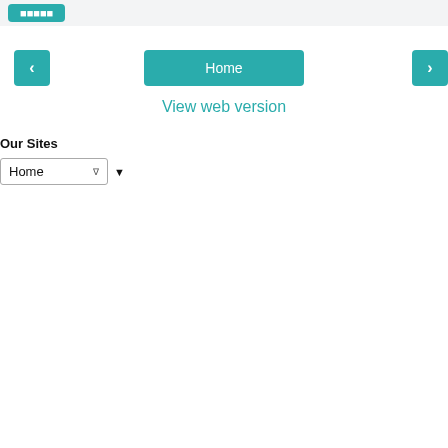[Figure (screenshot): Top banner with a small teal button]
[Figure (screenshot): Navigation bar with left arrow, Home button, right arrow]
View web version
Our Sites
[Figure (screenshot): Dropdown selector showing 'Home' with a dropdown arrow icon]